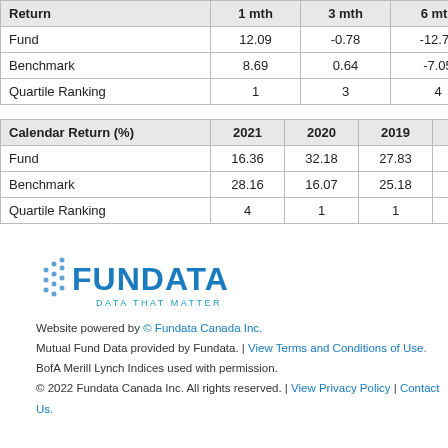| Return | 1 mth | 3 mth | 6 mth | ... |
| --- | --- | --- | --- | --- |
| Fund | 12.09 | -0.78 | -12.75 | -2... |
| Benchmark | 8.69 | 0.64 | -7.05 | -1... |
| Quartile Ranking | 1 | 3 | 4 |  |
| Calendar Return (%) | 2021 | 2020 | 2019 | 2018 | ... |
| --- | --- | --- | --- | --- | --- |
| Fund | 16.36 | 32.18 | 27.83 | 8.66 |  |
| Benchmark | 28.16 | 16.07 | 25.18 | 3.98 |  |
| Quartile Ranking | 4 | 1 | 1 | 1 |  |
[Figure (logo): Fundata logo with text 'FUNDATA' in blue and tagline 'DATA THAT MATTER']
Website powered by © Fundata Canada Inc.
Mutual Fund Data provided by Fundata. | View Terms and Conditions of Use.
BofA Merill Lynch Indices used with permission.
© 2022 Fundata Canada Inc. All rights reserved. | View Privacy Policy | Contact Us.